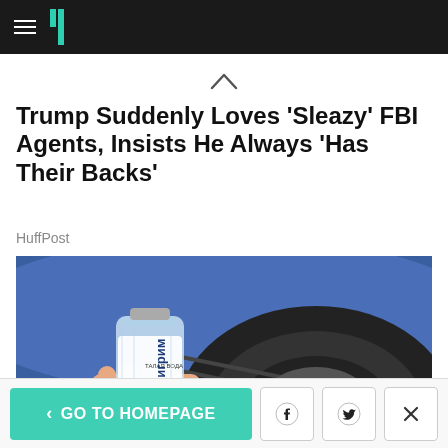HuffPost navigation header with hamburger menu and logo
Trump Suddenly Loves 'Sleazy' FBI Agents, Insists He Always 'Has Their Backs'
HuffPost
[Figure (photo): A hand holding a plastic water bottle with Cyrillic text (Пилигрим / talaya voda) pressed against a car tire of a blue vehicle]
< GO TO HOMEPAGE | Facebook | Twitter | X (close)